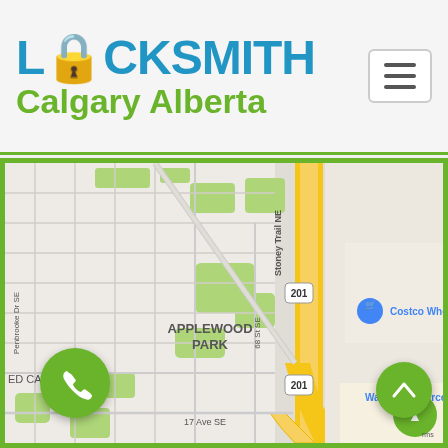LOCKSMITH Calgary Alberta
[Figure (map): Google Maps screenshot showing Applewood Park area in Calgary SE, with Stoney Trail NE (Highway 201) running north-south, Penbrooke Dr SE and 68 St SE as cross streets, and markers for Costco Wholesale and Walmart Supercenter. Green park areas and residential streets visible. Labels: APPLEWOOD PARK, Stoney Trail NE, 201, Penbrooke Dr SE, 68 St SE, 17 Ave SE, ED CARPET, Costco Who, Walmart Supercent.]
[Figure (other): Green circular phone call button at bottom left]
[Figure (other): Green circular scroll-to-top arrow button at bottom right]